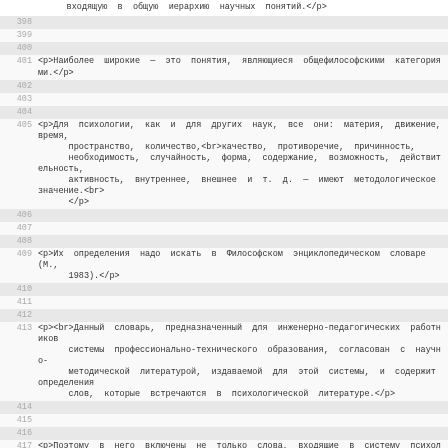входящую в общую иерархию научных понятий.</p>
398 (shaded, empty)
399 (empty)
400 (shaded, empty)
401  <p>Наиболее широкие — это понятия, являющиеся общефилософскими категориями.</p>
402 (shaded, empty)
403 (empty)
404 (shaded, empty)
405  <p>Для психологии, как и для других наук, все они: материя, движение, время, пространство, количество,<br>качество, противоречие, причинность, необходимость, случайность, форма, содержание, возможность, действительность, активность, внутреннее, внешнее и т. д. — имеют методологическое значение.<br></p>
406 (shaded, empty)
407 (empty)
408 (shaded, empty)
409  <p>Их определения надо искать в Философском энциклопедическом словаре (М., 1983).</p>
410 (shaded, empty)
411 (empty)
412 (shaded, empty)
413  <p><br>Данный словарь, предназначенный для инженерно-педагогических работников системы профессионально-технического образования, согласован с научно-методической литературой, издаваемой для этой системы, и содержит определения слов, которые встречаются в психологической литературе.</p>
414 (shaded, empty)
415 (empty)
416 (shaded, empty)
417  <p>Поэтому в него включены не только слова, входящие в систему психологических понятий, но и<br>ряд слов языка психологической науки. </p>
418 (shaded, empty)
419 (empty)